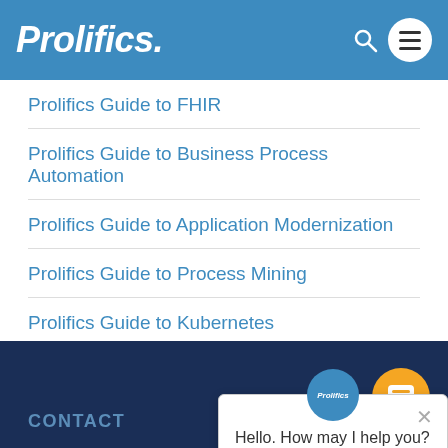Prolifics. [logo with search and menu icons]
Prolifics Guide to FHIR
Prolifics Guide to Business Process Automation
Prolifics Guide to Application Modernization
Prolifics Guide to Process Mining
Prolifics Guide to Kubernetes
Hello. How may I help you?
CONTACT